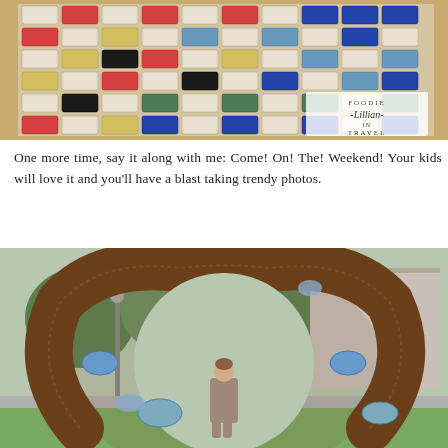[Figure (photo): Overhead view of a colorful ceramic tile checkerboard-style game board with red, blue, yellow, white, black, and gray glazed tiles in a wooden frame. A watermark reads 'Foodie Lillian in Travel'.]
One more time, say it along with me: Come! On! The! Weekend! Your kids will love it and you'll have a blast taking trendy photos.
[Figure (photo): Outdoor photo of a large rustic metal circular sculpture with abstract face-like decorations including blue oval shapes, set in a park with trees and buildings in the background. A person stands in the center of the circular opening.]